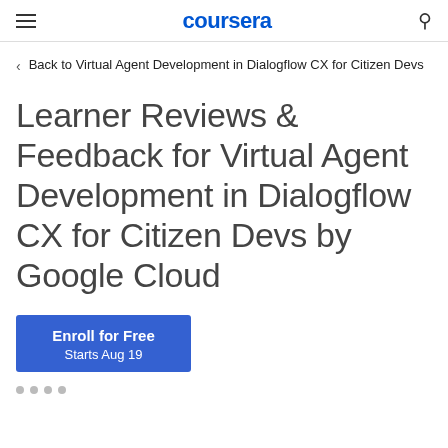coursera
Back to Virtual Agent Development in Dialogflow CX for Citizen Devs
Learner Reviews & Feedback for Virtual Agent Development in Dialogflow CX for Citizen Devs by Google Cloud
Enroll for Free
Starts Aug 19